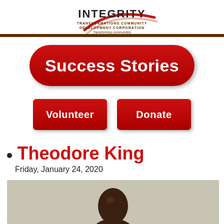[Figure (logo): Integrity Transformations Community Development Corporation logo with red curved swoosh lines and text: INTEGRITY, TRANSFORMATIONS COMMUNITY DEVELOPMENT CORPORATION, Transforming communities from the inside out.]
Success Stories
Volunteer
Donate
Theodore King
Friday, January 24, 2020
[Figure (photo): Portrait photo of Theodore King, a man with dark skin, against a beige/gray background, head and upper shoulders visible.]